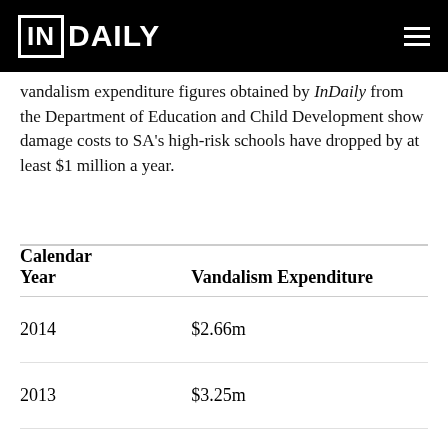IN DAILY
Vandalism expenditure figures obtained by InDaily from the Department of Education and Child Development show damage costs to SA's high-risk schools have dropped by at least $1 million a year.
| Calendar Year | Vandalism Expenditure |
| --- | --- |
| 2014 | $2.66m |
| 2013 | $3.25m |